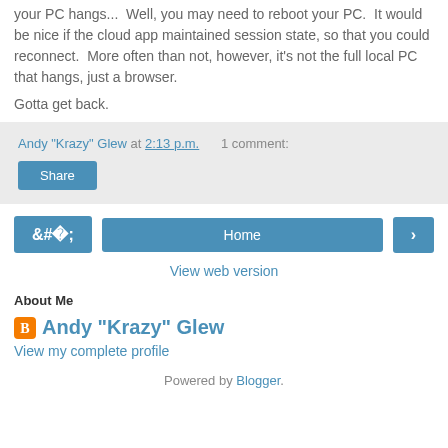your PC hangs...  Well, you may need to reboot your PC.  It would be nice if the cloud app maintained session state, so that you could reconnect.  More often than not, however, it's not the full local PC that hangs, just a browser.
Gotta get back.
Andy "Krazy" Glew at 2:13 p.m.    1 comment:
Share
‹   Home   ›
View web version
About Me
Andy "Krazy" Glew
View my complete profile
Powered by Blogger.